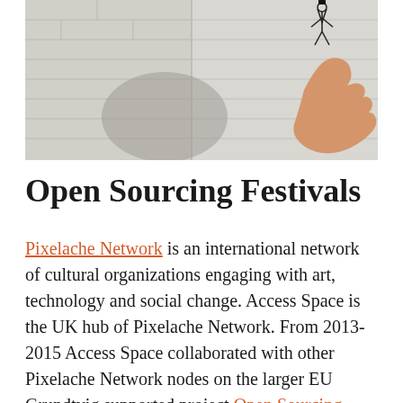[Figure (photo): A hand holding a small wire robot/sculpture figure against a white brick wall background.]
Open Sourcing Festivals
Pixelache Network is an international network of cultural organizations engaging with art, technology and social change. Access Space is the UK hub of Pixelache Network. From 2013-2015 Access Space collaborated with other Pixelache Network nodes on the larger EU Grundtvig supported project Open Sourcing Festivals. Apart from sending representatives to project partner